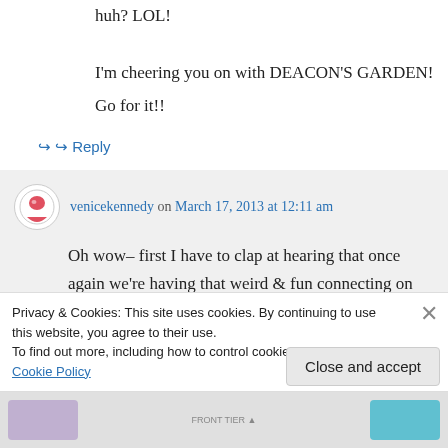huh? LOL!
I'm cheering you on with DEACON'S GARDEN!
Go for it!!
↪ Reply
venicekennedy on March 17, 2013 at 12:11 am
Oh wow– first I have to clap at hearing that once again we're having that weird & fun connecting on the same level thing again
Privacy & Cookies: This site uses cookies. By continuing to use this website, you agree to their use. To find out more, including how to control cookies, see here: Cookie Policy
Close and accept